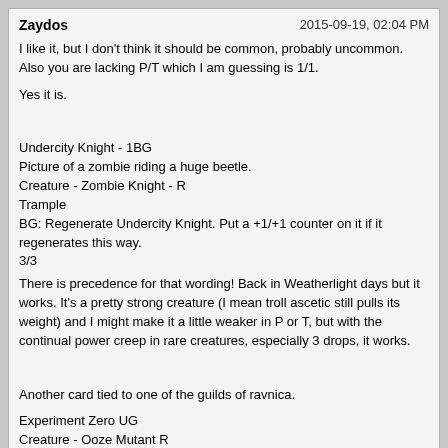Zaydos  2015-09-19, 02:04 PM
I like it, but I don't think it should be common, probably uncommon. Also you are lacking P/T which I am guessing is 1/1.

Yes it is.


Undercity Knight - 1BG
Picture of a zombie riding a huge beetle.
Creature - Zombie Knight - R
Trample
BG: Regenerate Undercity Knight. Put a +1/+1 counter on it if it regenerates this way.
3/3

There is precedence for that wording! Back in Weatherlight days but it works. It's a pretty strong creature (I mean troll ascetic still pulls its weight) and I might make it a little weaker in P or T, but with the continual power creep in rare creatures, especially 3 drops, it works.


Another card tied to one of the guilds of ravnica.

Experiment Zero UG
Creature - Ooze Mutant R
~ enters the battlefield with a +1/+1 counter on it for each creature you control with Graft and a +1/+1 counter on it for each creature you control with Evolve.
0/0
After the failure that was Kraj pieces of the monstrosity were collected. They still live and grow, one of the last vestiges of Vig's vision.

Challenge: Another card tied to a Blue guild of Ravnica other than Simic.
Dr.Gunsforhands  2015-09-19, 02:48 PM